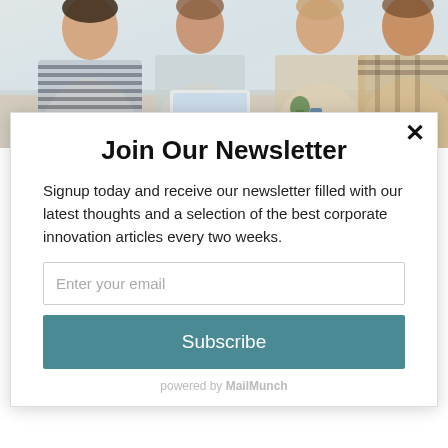[Figure (photo): Group of young professionals sitting around a table in a bright office setting, with a laptop open and books/papers on the table.]
Join Our Newsletter
Signup today and receive our newsletter filled with our latest thoughts and a selection of the best corporate innovation articles every two weeks.
Enter your email
Subscribe
powered by MailMunch